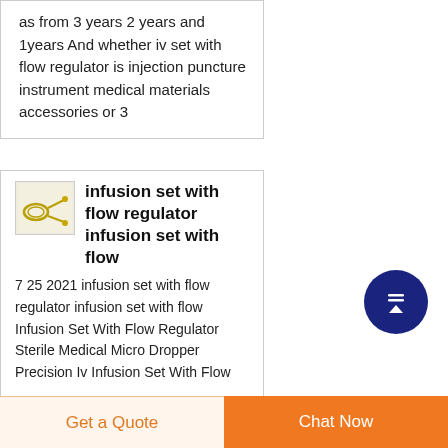as from 3 years 2 years and 1years And whether iv set with flow regulator is injection puncture instrument medical materials accessories or 3
[Figure (photo): Small thumbnail image of an infusion set with flow regulator product]
infusion set with flow regulator infusion set with flow
7 25 2021 infusion set with flow regulator infusion set with flow Infusion Set With Flow Regulator Sterile Medical Micro Dropper Precision Iv Infusion Set With Flow
[Figure (other): Scroll to top circular button with upward arrow, dark navy blue background]
Get a Quote   Chat Now